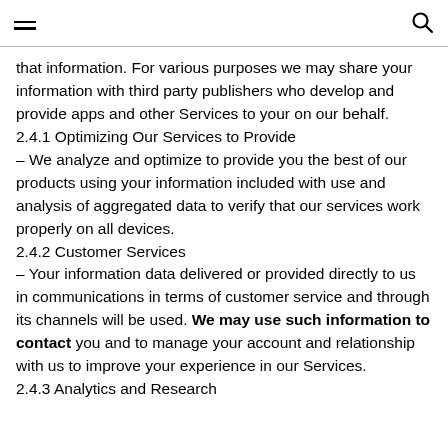≡  🔍
that information. For various purposes we may share your information with third party publishers who develop and provide apps and other Services to your on our behalf.
2.4.1 Optimizing Our Services to Provide
– We analyze and optimize to provide you the best of our products using your information included with use and analysis of aggregated data to verify that our services work properly on all devices.
2.4.2 Customer Services
– Your information data delivered or provided directly to us in communications in terms of customer service and through its channels will be used. We may use such information to contact you and to manage your account and relationship with us to improve your experience in our Services.
2.4.3 Analytics and Research